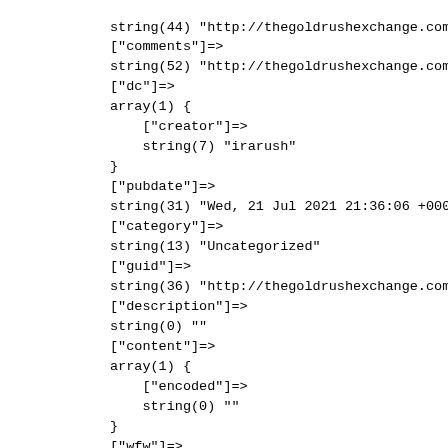string(44) "http://thegoldrushexchange.com/lear-ca
["comments"]=>
string(52) "http://thegoldrushexchange.com/lear-ca
["dc"]=>
array(1) {
    ["creator"]=>
    string(7) "irarush"
}
["pubdate"]=>
string(31) "Wed, 21 Jul 2021 21:36:06 +0000"
["category"]=>
string(13) "Uncategorized"
["guid"]=>
string(36) "http://thegoldrushexchange.com/?p=27"
["description"]=>
string(0) ""
["content"]=>
array(1) {
    ["encoded"]=>
    string(0) ""
}
["wfw"]=>
array(1) {
    ["commentrss"]=>
    string(49) "http://thegoldrushexchange.com/lear-c
}
["slash"]=>
array(1) {
    ["comments"]=>
    string(1) "0"